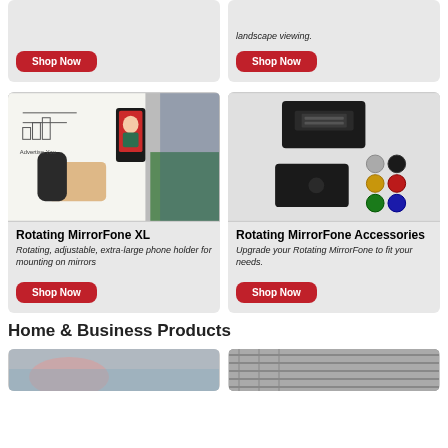[Figure (photo): Top left card with Shop Now button on grey background]
[Figure (photo): Top right card with italic text about landscape viewing and Shop Now button]
[Figure (photo): Photo of person writing on whiteboard with phone mounted showing video call - Rotating MirrorFone XL product]
Rotating MirrorFone XL
Rotating, adjustable, extra-large phone holder for mounting on mirrors
[Figure (photo): Photo of black phone mount accessory with colored screw options - Rotating MirrorFone Accessories product]
Rotating MirrorFone Accessories
Upgrade your Rotating MirrorFone to fit your needs.
Home & Business Products
[Figure (photo): Bottom left product image partially visible]
[Figure (photo): Bottom right product image partially visible]